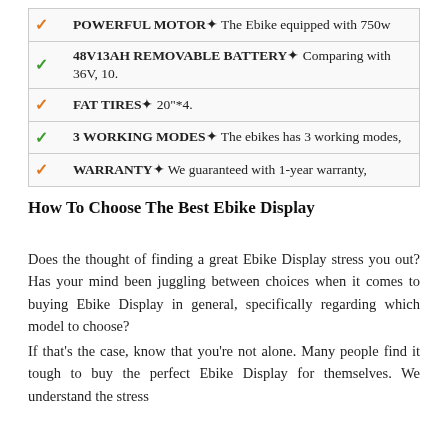| ✓ | POWERFUL MOTOR✦ The Ebike equipped with 750w |
| ✓ | 48V13AH REMOVABLE BATTERY✦ Comparing with 36V, 10. |
| ✓ | FAT TIRES✦ 20"*4. |
| ✓ | 3 WORKING MODES✦ The ebikes has 3 working modes, |
| ✓ | WARRANTY✦ We guaranteed with 1-year warranty, |
How To Choose The Best Ebike Display
Does the thought of finding a great Ebike Display stress you out? Has your mind been juggling between choices when it comes to buying Ebike Display in general, specifically regarding which model to choose?
If that's the case, know that you're not alone. Many people find it tough to buy the perfect Ebike Display for themselves. We understand the stress